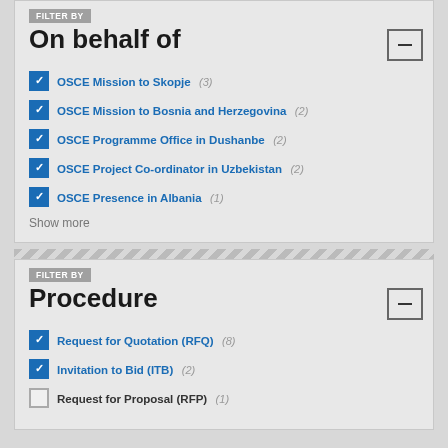FILTER BY
On behalf of
OSCE Mission to Skopje (3)
OSCE Mission to Bosnia and Herzegovina (2)
OSCE Programme Office in Dushanbe (2)
OSCE Project Co-ordinator in Uzbekistan (2)
OSCE Presence in Albania (1)
Show more
FILTER BY
Procedure
Request for Quotation (RFQ) (8)
Invitation to Bid (ITB) (2)
Request for Proposal (RFP) (1)